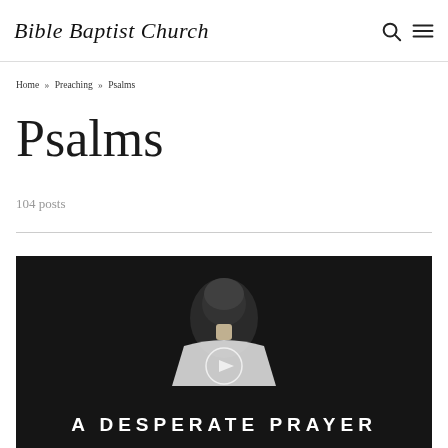Bible Baptist Church
Home » Preaching » Psalms
Psalms
104 posts
[Figure (photo): Dark photograph of a person with head bowed, with text overlay reading 'A DESPERATE PRAYER']